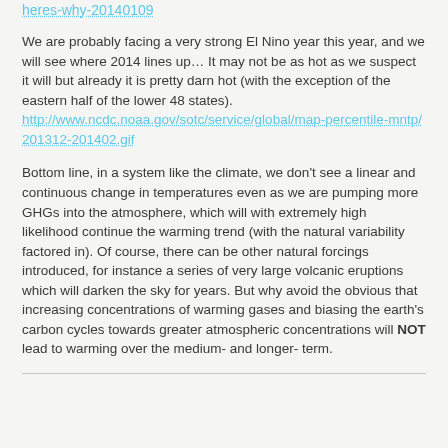heres-why-20140109
We are probably facing a very strong El Nino year this year, and we will see where 2014 lines up… It may not be as hot as we suspect it will but already it is pretty darn hot (with the exception of the eastern half of the lower 48 states). http://www.ncdc.noaa.gov/sotc/service/global/map-percentile-mntp/201312-201402.gif
Bottom line, in a system like the climate, we don't see a linear and continuous change in temperatures even as we are pumping more GHGs into the atmosphere, which will with extremely high likelihood continue the warming trend (with the natural variability factored in). Of course, there can be other natural forcings introduced, for instance a series of very large volcanic eruptions which will darken the sky for years. But why avoid the obvious that increasing concentrations of warming gases and biasing the earth's carbon cycles towards greater atmospheric concentrations will NOT lead to warming over the medium- and longer- term.